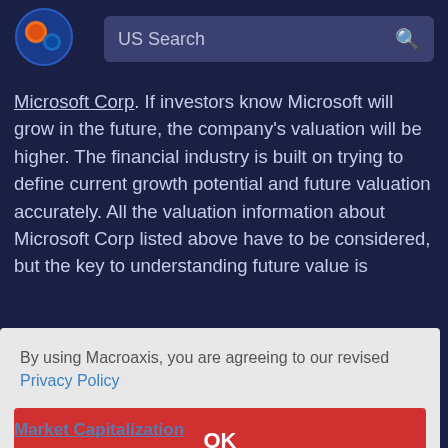[Figure (logo): Macroaxis logo - circular globe icon with orange and blue colors]
US Search
Microsoft Corp. If investors know Microsoft will grow in the future, the company's valuation will be higher. The financial industry is built on trying to define current growth potential and future valuation accurately. All the valuation information about Microsoft Corp listed above have to be considered, but the key to understanding future value is [obscured] ...thers.
By using Macroaxis, you are agreeing to our revised Privacy Policy
OK
Market Capitalization